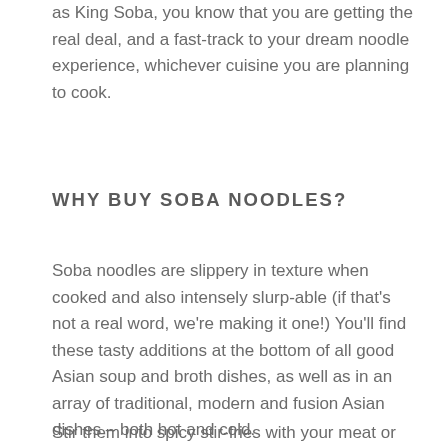as King Soba, you know that you are getting the real deal, and a fast-track to your dream noodle experience, whichever cuisine you are planning to cook.
WHY BUY SOBA NOODLES?
Soba noodles are slippery in texture when cooked and also intensely slurp-able (if that's not a real word, we're making it one!) You'll find these tasty additions at the bottom of all good Asian soup and broth dishes, as well as in an array of traditional, modern and fusion Asian dishes – both hot and cold.
Stir them into spicy stir-fries with your meat or